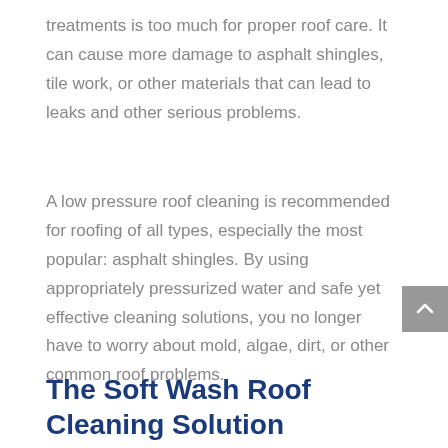treatments is too much for proper roof care. It can cause more damage to asphalt shingles, tile work, or other materials that can lead to leaks and other serious problems.
A low pressure roof cleaning is recommended for roofing of all types, especially the most popular: asphalt shingles. By using appropriately pressurized water and safe yet effective cleaning solutions, you no longer have to worry about mold, algae, dirt, or other common roof problems.
The Soft Wash Roof Cleaning Solution